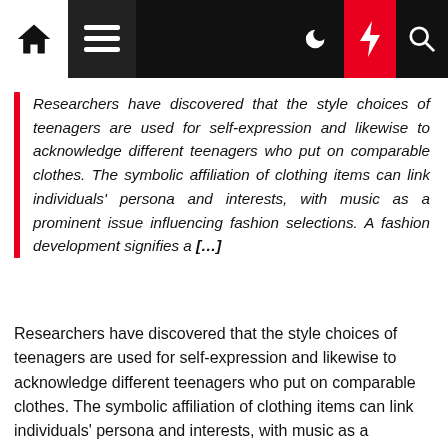Navigation bar with home, menu, dark mode, lightning/red, and search icons
Researchers have discovered that the style choices of teenagers are used for self-expression and likewise to acknowledge different teenagers who put on comparable clothes. The symbolic affiliation of clothing items can link individuals' persona and interests, with music as a prominent issue influencing fashion selections. A fashion development signifies a [...]
Researchers have discovered that the style choices of teenagers are used for self-expression and likewise to acknowledge different teenagers who put on comparable clothes. The symbolic affiliation of clothing items can link individuals' persona and interests, with music as a prominent issue influencing fashion selections. A fashion development signifies a particular look or expression that's spread